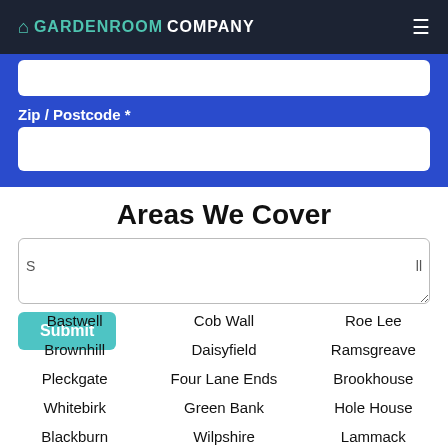GARDENROOMCOMPANY
Zip / Postcode *
Areas We Cover
Bastwell
Cob Wall
Roe Lee
Brownhill
Daisyfield
Ramsgreave
Pleckgate
Four Lane Ends
Brookhouse
Whitebirk
Green Bank
Hole House
Blackburn
Wilpshire
Lammack